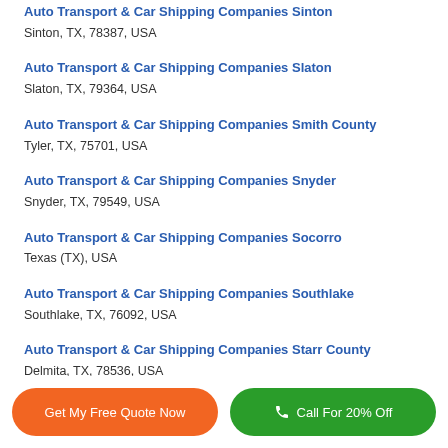Auto Transport & Car Shipping Companies Sinton
Sinton, TX, 78387, USA
Auto Transport & Car Shipping Companies Slaton
Slaton, TX, 79364, USA
Auto Transport & Car Shipping Companies Smith County
Tyler, TX, 75701, USA
Auto Transport & Car Shipping Companies Snyder
Snyder, TX, 79549, USA
Auto Transport & Car Shipping Companies Socorro
Texas (TX), USA
Auto Transport & Car Shipping Companies Southlake
Southlake, TX, 76092, USA
Auto Transport & Car Shipping Companies Starr County
Delmita, TX, 78536, USA
Get My Free Quote Now
Call For 20% Off